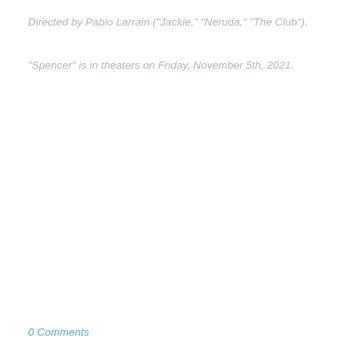Directed by Pablo Larrain ("Jackie," "Neruda," "The Club").
"Spencer" is in theaters on Friday, November 5th, 2021.
0 Comments